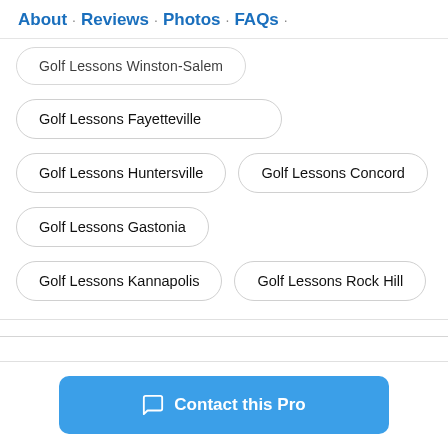About · Reviews · Photos · FAQs ·
Golf Lessons Winston-Salem
Golf Lessons Fayetteville
Golf Lessons Huntersville
Golf Lessons Concord
Golf Lessons Gastonia
Golf Lessons Kannapolis
Golf Lessons Rock Hill
Contact this Pro